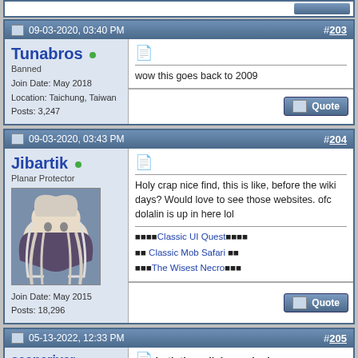[top strip with button]
09-03-2020, 03:40 PM  #203
Tunabros  Banned
Join Date: May 2018
Location: Taichung, Taiwan
Posts: 3,247
wow this goes back to 2009
09-03-2020, 03:43 PM  #204
Jibartik  Planar Protector
Join Date: May 2015
Posts: 18,296
Holy crap nice find, this is like, before the wiki days? Would love to see those websites. ofc dolalin is up in here lol
Classic UI Quest
Classic Mob Safari
The Wisest Necro
05-13-2022, 12:33 PM  #205
seaneriver
both these links are bad now